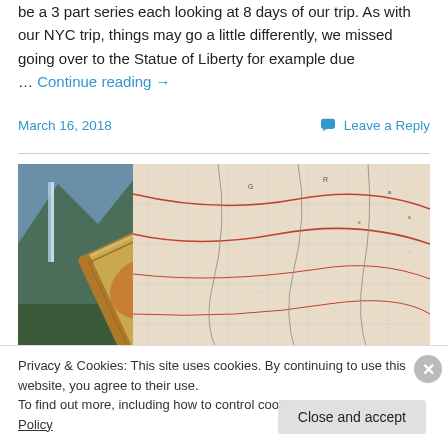be a 3 part series each looking at 8 days of our trip. As with our NYC trip, things may go a little differently, we missed going over to the Statue of Liberty for example due … Continue reading →
March 16, 2018
Leave a Reply
[Figure (photo): A travel scene showing an open map with roads and geography details alongside a book or travel journal, with a mountain/waterfall scene visible on the left side.]
Privacy & Cookies: This site uses cookies. By continuing to use this website, you agree to their use.
To find out more, including how to control cookies, see here: Cookie Policy
Close and accept